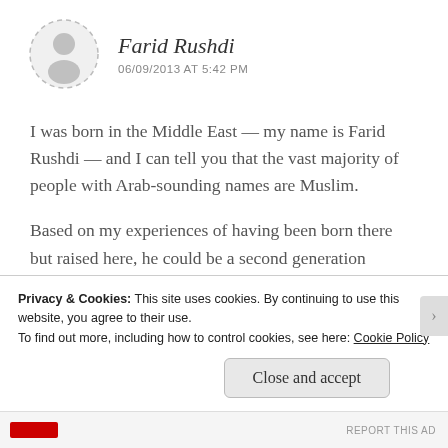[Figure (illustration): Circular dashed-border avatar placeholder with silhouette of a person, grey colored]
Farid Rushdi
06/09/2013 AT 5:42 PM
I was born in the Middle East — my name is Farid Rushdi — and I can tell you that the vast majority of people with Arab-sounding names are Muslim.
Based on my experiences of having been born there but raised here, he could be a second generation American considering his first name.
Privacy & Cookies: This site uses cookies. By continuing to use this website, you agree to their use.
To find out more, including how to control cookies, see here: Cookie Policy
Close and accept